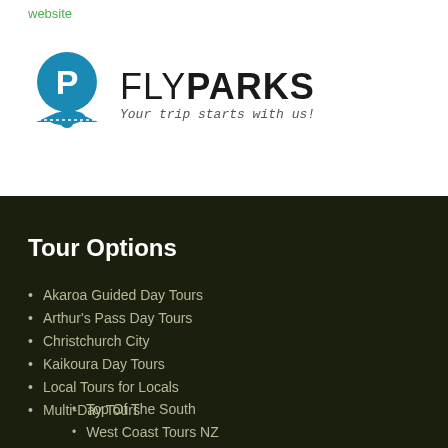website
[Figure (logo): FlyParks logo with a blue circular parking symbol P and airplane graphic, with text FLYPARKS and tagline 'Your trip starts with us!']
Tour Options
Akaroa Guided Day Tours
Arthur's Pass Day Tours
Christchurch City
Kaikoura Day Tours
Local Tours for Locals
Multi-Day Tours
Top Of The South
West Coast Tours NZ